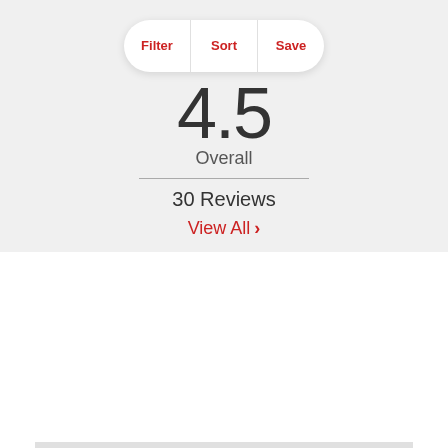[Figure (screenshot): Filter/Sort/Save navigation bar with rounded pill shape on light gray background]
4.5
Overall
30 Reviews
View All >